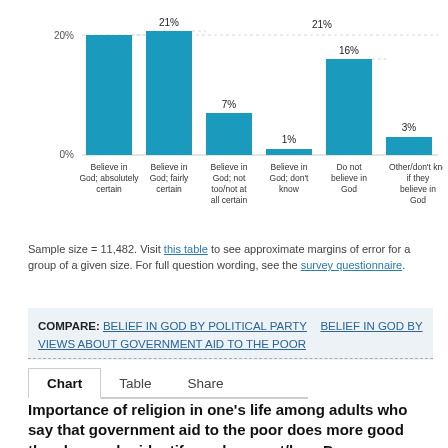[Figure (bar-chart): Belief in God categories]
Sample size = 11,482. Visit this table to see approximate margins of error for a group of a given size. For full question wording, see the survey questionnaire.
COMPARE: BELIEF IN GOD BY POLITICAL PARTY   BELIEF IN GOD BY VIEWS ABOUT GOVERNMENT AID TO THE POOR
Chart   Table   Share
Importance of religion in one's life among adults who say that government aid to the poor does more good than harm who identify as democrat/lean Dem...